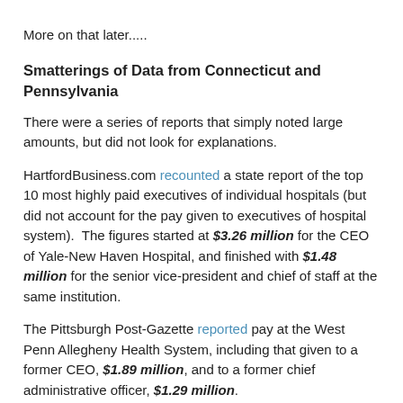More on that later.....
Smatterings of Data from Connecticut and Pennsylvania
There were a series of reports that simply noted large amounts, but did not look for explanations.
HartfordBusiness.com recounted a state report of the top 10 most highly paid executives of individual hospitals (but did not account for the pay given to executives of hospital system).  The figures started at $3.26 million for the CEO of Yale-New Haven Hospital, and finished with $1.48 million for the senior vice-president and chief of staff at the same institution.
The Pittsburgh Post-Gazette reported pay at the West Penn Allegheny Health System, including that given to a former CEO, $1.89 million, and to a former chief administrative officer, $1.29 million.